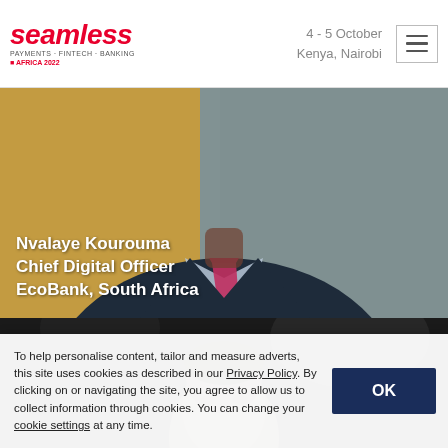seamless PAYMENTS · FINTECH · BANKING AFRICA 2022 | 4-5 October Kenya, Nairobi
[Figure (photo): Close-up photo of Nvalaye Kourouma wearing a dark suit with a pink/magenta tie and light blue checked shirt, photographed from the chest up against a blurred background.]
Nvalaye Kourouma
Chief Digital Officer
EcoBank, South Africa
[Figure (photo): Black and white photo of a man's face and upper head, with blurred foliage in the background.]
To help personalise content, tailor and measure adverts, this site uses cookies as described in our Privacy Policy. By clicking on or navigating the site, you agree to allow us to collect information through cookies. You can change your cookie settings at any time.